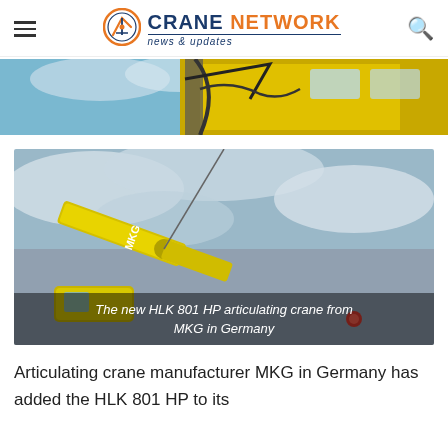CRANE NETWORK news & updates
[Figure (photo): Partial top strip showing a yellow crane truck against a blue sky, cropped view]
[Figure (photo): The new HLK 801 HP articulating crane from MKG in Germany — a yellow MKG articulating crane photographed against a cloudy sky, with caption overlay]
The new HLK 801 HP articulating crane from MKG in Germany
Articulating crane manufacturer MKG in Germany has added the HLK 801 HP to its